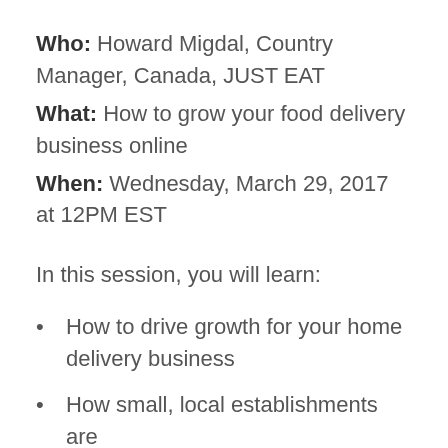Who: Howard Migdal, Country Manager, Canada, JUST EAT
What: How to grow your food delivery business online
When: Wednesday, March 29, 2017 at 12PM EST
In this session, you will learn:
How to drive growth for your home delivery business
How small, local establishments are